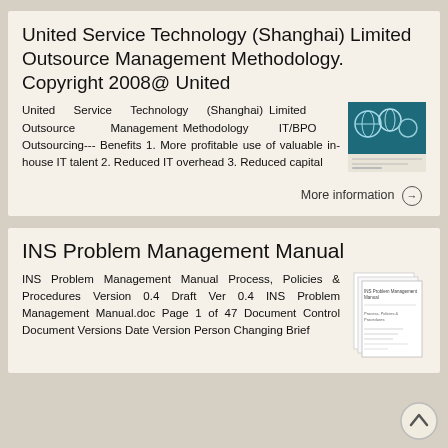United Service Technology (Shanghai) Limited Outsource Management Methodology. Copyright 2008@ United
United Service Technology (Shanghai) Limited Outsource Management Methodology IT/BPO Outsourcing--- Benefits 1. More profitable use of valuable in-house IT talent 2. Reduced IT overhead 3. Reduced capital
[Figure (illustration): Thumbnail image of a teal/blue book cover with globe imagery - United Service Technology publication]
More information →
INS Problem Management Manual
INS Problem Management Manual Process, Policies & Procedures Version 0.4 Draft Ver 0.4 INS Problem Management Manual.doc Page 1 of 47 Document Control Document Versions Date Version Person Changing Brief
[Figure (illustration): Thumbnail image of INS Problem Management Manual document pages]